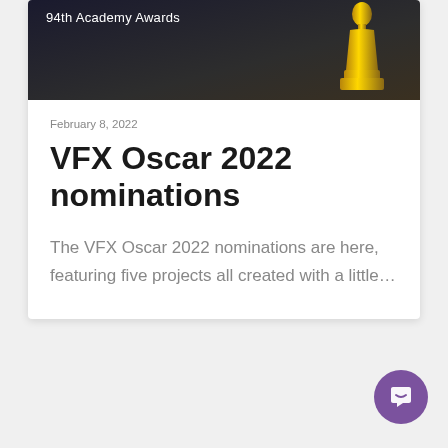[Figure (photo): Dark background image showing '94th Academy Awards' text with an Oscar statue silhouette in gold on the right]
February 8, 2022
VFX Oscar 2022 nominations
The VFX Oscar 2022 nominations are here, featuring five projects all created with a little…
[Figure (illustration): Purple circular chat/message button with a white chat bubble icon]